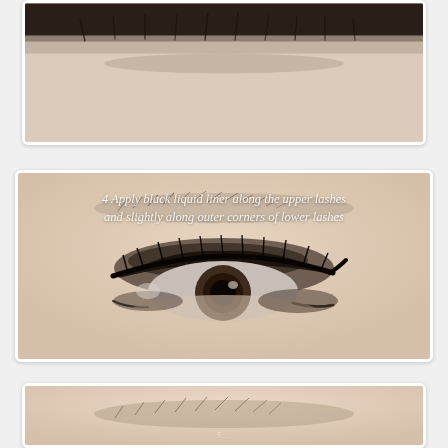[Figure (photo): Top partial photo of a close-up eye with eyebrow, showing skin and eyelashes at the top of the page, cropped.]
[Figure (photo): Step 4 makeup tutorial photo showing a close-up of an eye with black liquid liner applied along the upper lashes and slightly along outer corners of lower lashes, with smoky eye shadow. Text overlay reads: '4 Apply black liquid liner along the upper lashes and slightly along outer corners of lower lashes']
[Figure (photo): Partial bottom photo showing another step of the eye makeup tutorial, cropped at bottom of page.]